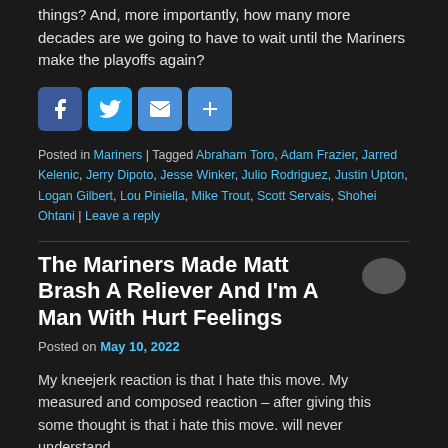things? And, more importantly, how many more decades are we going to have to wait until the Mariners make the playoffs again?
[Figure (infographic): Four social media sharing buttons: Facebook (blue), Twitter (blue), Email (blue), Share/Plus (blue)]
Posted in Mariners | Tagged Abraham Toro, Adam Frazier, Jarred Kelenic, Jerry Dipoto, Jesse Winker, Julio Rodriguez, Justin Upton, Logan Gilbert, Lou Piniella, Mike Trout, Scott Servais, Shohei Ohtani | Leave a reply
The Mariners Made Matt Brash A Reliever And I'm A Man With Hurt Feelings
Posted on May 10, 2022
My kneejerk reaction is that I hate this move. My measured and composed reaction – after giving this some thought is that i hate this move. will never understand